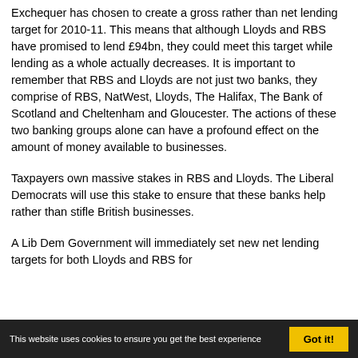Exchequer has chosen to create a gross rather than net lending target for 2010-11. This means that although Lloyds and RBS have promised to lend £94bn, they could meet this target while lending as a whole actually decreases. It is important to remember that RBS and Lloyds are not just two banks, they comprise of RBS, NatWest, Lloyds, The Halifax, The Bank of Scotland and Cheltenham and Gloucester. The actions of these two banking groups alone can have a profound effect on the amount of money available to businesses.
Taxpayers own massive stakes in RBS and Lloyds. The Liberal Democrats will use this stake to ensure that these banks help rather than stifle British businesses.
A Lib Dem Government will immediately set new net lending targets for both Lloyds and RBS for
This website uses cookies to ensure you get the best experience